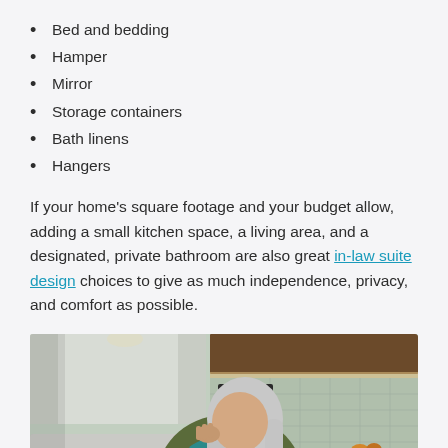Bed and bedding
Hamper
Mirror
Storage containers
Bath linens
Hangers
If your home's square footage and your budget allow, adding a small kitchen space, a living area, and a designated, private bathroom are also great in-law suite design choices to give as much independence, privacy, and comfort as possible.
[Figure (photo): Older woman with long gray hair and teal scarf reading a yellow book on a couch in a cozy living space with kitchen visible in background]